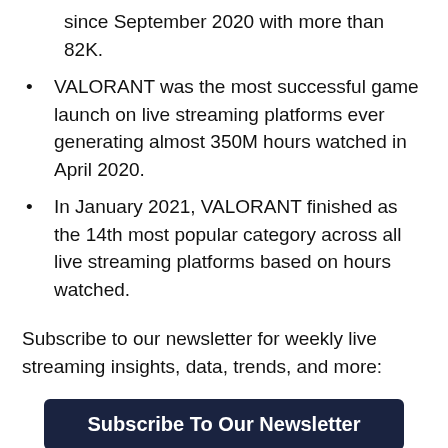since September 2020 with more than 82K.
VALORANT was the most successful game launch on live streaming platforms ever generating almost 350M hours watched in April 2020.
In January 2021, VALORANT finished as the 14th most popular category across all live streaming platforms based on hours watched.
Subscribe to our newsletter for weekly live streaming insights, data, trends, and more:
Subscribe To Our Newsletter